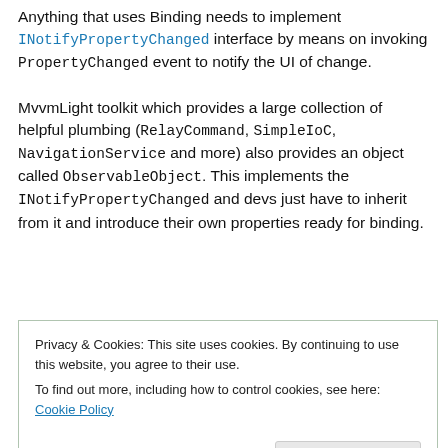Anything that uses Binding needs to implement INotifyPropertyChanged interface by means on invoking PropertyChanged event to notify the UI of change.

MvvmLight toolkit which provides a large collection of helpful plumbing (RelayCommand, SimpleIoC, NavigationService and more) also provides an object called ObservableObject. This implements the INotifyPropertyChanged and devs just have to inherit from it and introduce their own properties ready for binding.
Privacy & Cookies: This site uses cookies. By continuing to use this website, you agree to their use.
To find out more, including how to control cookies, see here: Cookie Policy
Close and accept
4    // Summary: